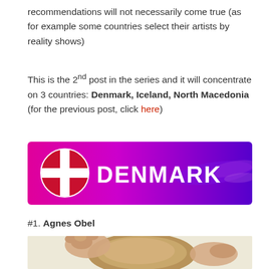recommendations will not necessarily come true (as for example some countries select their artists by reality shows)
This is the 2nd post in the series and it will concentrate on 3 countries: Denmark, Iceland, North Macedonia (for the previous post, click here)
[Figure (illustration): Denmark banner with magenta-to-purple gradient background, Danish flag circle on left, bold white text reading DENMARK]
#1. Agnes Obel
[Figure (photo): Photo of a person (Agnes Obel) with hands touching hair, light beige/cream background, cropped at top of head/hands visible]